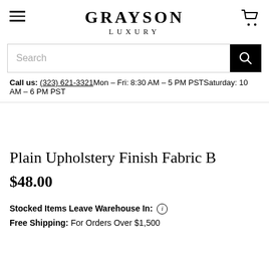GRAYSON LUXURY
Search
Call us: (323) 621-3321 Mon – Fri: 8:30 AM – 5 PM PST Saturday: 10 AM – 6 PM PST
Plain Upholstery Finish Fabric B
$48.00
Stocked Items Leave Warehouse In: ⓘ
Free Shipping: For Orders Over $1,500